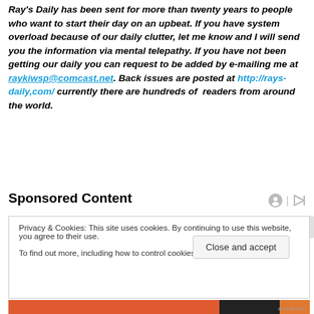Ray's Daily has been sent for more than twenty years to people who want to start their day on an upbeat. If you have system overload because of our daily clutter, let me know and I will send you the information via mental telepathy. If you have not been getting our daily you can request to be added by e-mailing me at raykiwsp@comcast.net. Back issues are posted at http://rays-daily,com/ currently there are hundreds of readers from around the world.
Sponsored Content
Privacy & Cookies: This site uses cookies. By continuing to use this website, you agree to their use.
To find out more, including how to control cookies, see here: Cookie Policy